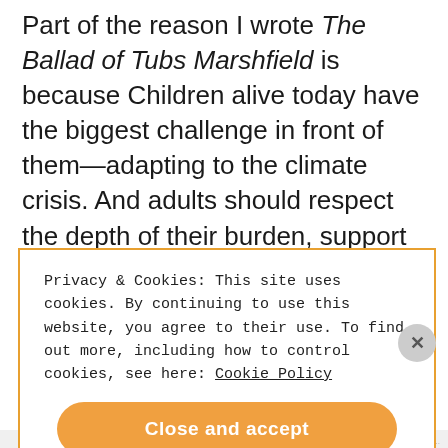Part of the reason I wrote The Ballad of Tubs Marshfield is because Children alive today have the biggest challenge in front of them—adapting to the climate crisis. And adults should respect the depth of their burden, support them and also give them cause for joy because joy helps assure survival. As a writer, and just as a fellow creature on this planet, the most important work I can be doing now is in aiding the people who will be left with the crisis
Privacy & Cookies: This site uses cookies. By continuing to use this website, you agree to their use. To find out more, including how to control cookies, see here: Cookie Policy
Close and accept